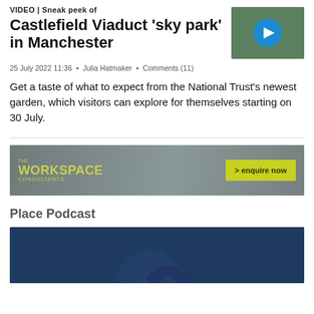VIDEO | Sneak peek of Castlefield Viaduct 'sky park' in Manchester
[Figure (photo): Thumbnail image of Castlefield Viaduct with play button overlay, showing greenery and a blue circular play icon]
25 July 2022 11:36 • Julia Hatmaker • Comments (11)
Get a taste of what to expect from the National Trust's newest garden, which visitors can explore for themselves starting on 30 July.
[Figure (other): Advertisement banner for The Workspace Consultants with a yellow-green enquire now button]
Place Podcast
[Figure (photo): Blue podcast image with curved wave/arc graphic elements in darker blue]